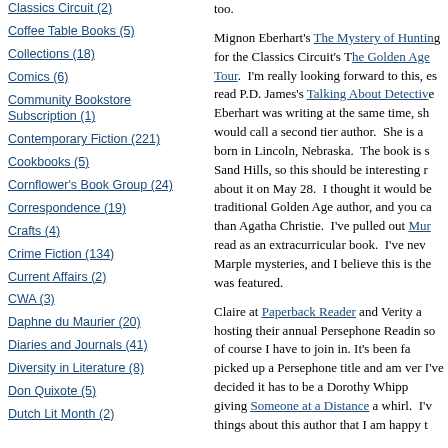Classics Circuit (2)
Coffee Table Books (5)
Collections (18)
Comics (6)
Community Bookstore Subscription (1)
Contemporary Fiction (221)
Cookbooks (5)
Cornflower's Book Group (24)
Correspondence (19)
Crafts (4)
Crime Fiction (134)
Current Affairs (2)
CWA (3)
Daphne du Maurier (20)
Diaries and Journals (41)
Diversity in Literature (8)
Don Quixote (5)
Dutch Lit Month (2)
too.

Mignon Eberhart's The Mystery of Hunting's End for the Classics Circuit's The Golden Age Tour. I'm really looking forward to this, es read P.D. James's Talking About Detective Eberhart was writing at the same time, sh would call a second tier author. She is a born in Lincoln, Nebraska. The book is s Sand Hills, so this should be interesting r about it on May 28. I thought it would be traditional Golden Age author, and you ca than Agatha Christie. I've pulled out Mur read as an extracurricular book. I've nev Marple mysteries, and I believe this is the was featured.

Claire at Paperback Reader and Verity a hosting their annual Persephone Readin so of course I have to join in. It's been fa picked up a Persephone title and am ver I've decided it has to be a Dorothy Whipp giving Someone at a Distance a whirl. I'v things about this author that I am happy t